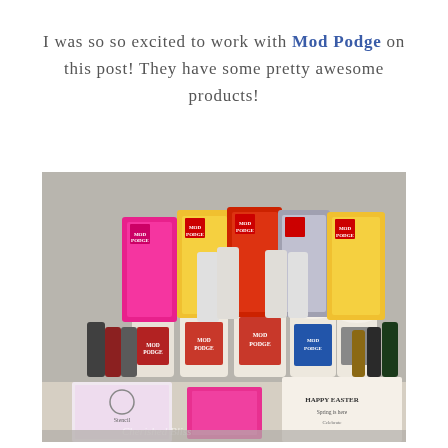I was so so excited to work with Mod Podge on this post! They have some pretty awesome products!
[Figure (photo): A photo showing a collection of Mod Podge products including several jars of Mod Podge decoupage glue in various finishes (matte, gloss, etc.), craft paint bottles, foam brushes, spray bottles, stencils, and other Plaid craft supplies arranged on a wooden surface. A watermark reading 'Cherished Bliss' is visible at the bottom.]